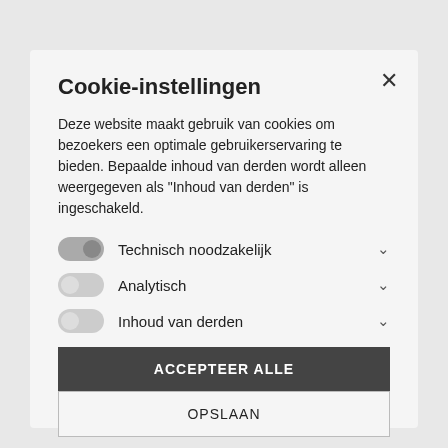Cookie-instellingen
Deze website maakt gebruik van cookies om bezoekers een optimale gebruikerservaring te bieden. Bepaalde inhoud van derden wordt alleen weergegeven als "Inhoud van derden" is ingeschakeld.
Technisch noodzakelijk
Analytisch
Inhoud van derden
ACCEPTEER ALLE
OPSLAAN
Lees hier meer over in onze privacyverklaring